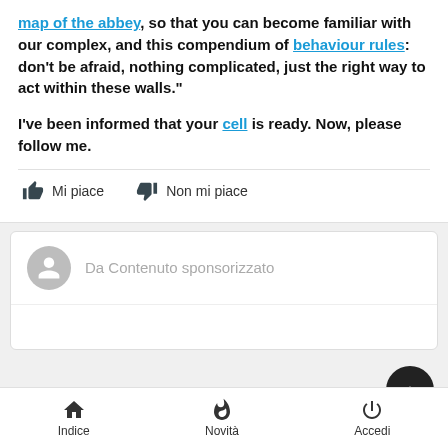map of the abbey, so that you can become familiar with our complex, and this compendium of behaviour rules: don't be afraid, nothing complicated, just the right way to act within these walls."
I've been informed that your cell is ready. Now, please follow me.
Mi piace   Non mi piace
Da Contenuto sponsorizzato
Argomenti simili
Indice   Novità   Accedi